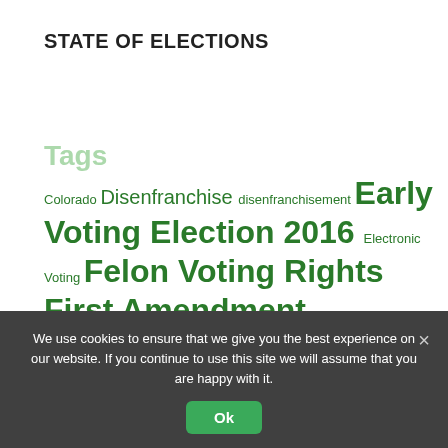STATE OF ELECTIONS
[Figure (infographic): Tag cloud of election-related topics in green text of varying sizes: Colorado, Disenfranchise, disenfranchisement, Early Voting, Election 2016, Electronic Voting, Felon Voting Rights, First Amendment, Gerrymandering, in-depth article, judicial elections, National Voter Registration Act, North Carolina, photo ID, primary election, Recount, Redistricting, Referendum, Registration, Secretary of State]
We use cookies to ensure that we give you the best experience on our website. If you continue to use this site we will assume that you are happy with it.